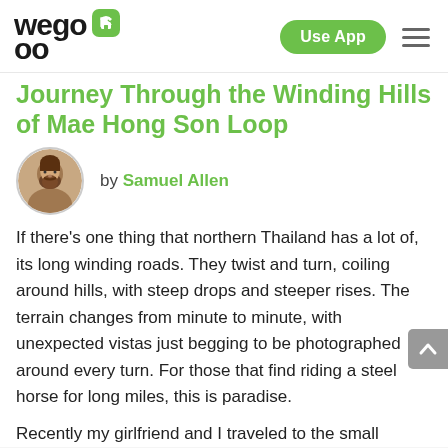wego | Use App
Journey Through the Winding Hills of Mae Hong Son Loop
[Figure (photo): Circular portrait photo of author Samuel Allen, a man with a beard]
by Samuel Allen
If there's one thing that northern Thailand has a lot of, its long winding roads. They twist and turn, coiling around hills, with steep drops and steeper rises. The terrain changes from minute to minute, with unexpected vistas just begging to be photographed around every turn. For those that find riding a steel horse for long miles, this is paradise.
Recently my girlfriend and I traveled to the small